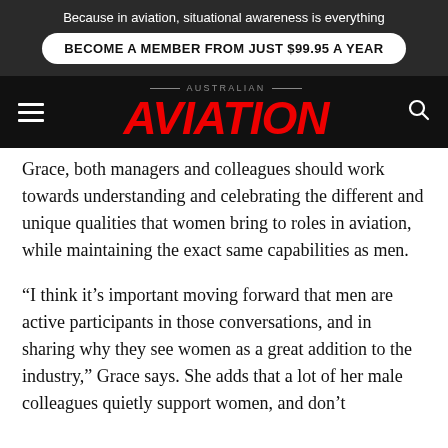Because in aviation, situational awareness is everything
BECOME A MEMBER FROM JUST $99.95 A YEAR
AUSTRALIAN AVIATION
Grace, both managers and colleagues should work towards understanding and celebrating the different and unique qualities that women bring to roles in aviation, while maintaining the exact same capabilities as men.
“I think it’s important moving forward that men are active participants in those conversations, and in sharing why they see women as a great addition to the industry,” Grace says. She adds that a lot of her male colleagues quietly support women, and don’t